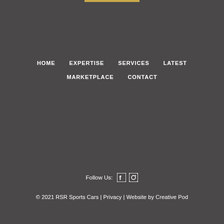HOME
EXPERTISE
SERVICES
LATEST
MARKETPLACE
CONTACT
Follow Us:
© 2021 RSR Sports Cars | Privacy | Website by Creative Pod